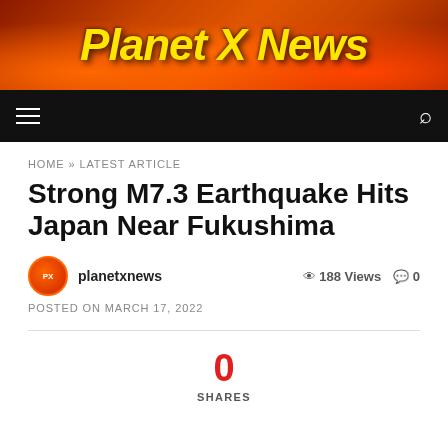[Figure (logo): Planet X News banner logo with flame background and yellow italic bold text]
Navigation bar with hamburger menu and search icon
HOME » LATEST ARTICLE
Strong M7.3 Earthquake Hits Japan Near Fukushima
planetxnews   188 Views   0
POSTED ON MARCH 17, 2022
0 SHARES